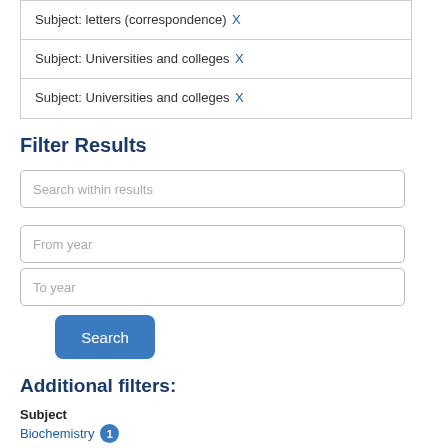Subject: letters (correspondence) X
Subject: Universities and colleges X
Subject: Universities and colleges X
Filter Results
Search within results
From year
To year
Search
Additional filters:
Subject
Biochemistry 1